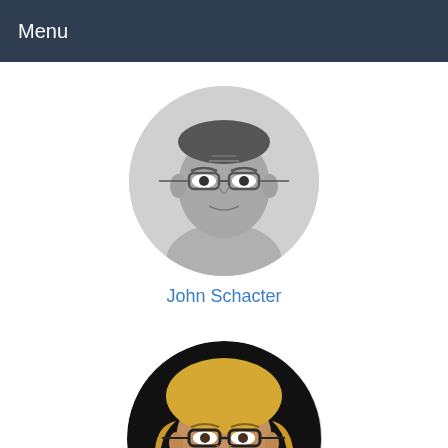Menu
[Figure (photo): Circular profile photo of a man wearing glasses, grayscale]
John Schacter
[Figure (photo): Circular profile photo of a woman with blonde hair and glasses, color]